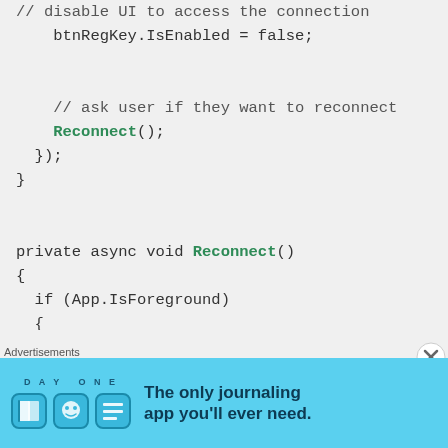// disable UI to access the connection
    btnRegKey.IsEnabled = false;


    // ask user if they want to reconnect
    Reconnect();
  });
}


private async void Reconnect()
{
  if (App.IsForeground)
  {
    MessageDialog dlg = new MessageDialog(
    UICommand yesCommand = new UICommand("
    {
      await FullTrustProcessLauncher.Launc
[Figure (infographic): Advertisement banner for Day One journaling app with light blue background, app icons, and tagline 'The only journaling app you'll ever need.']